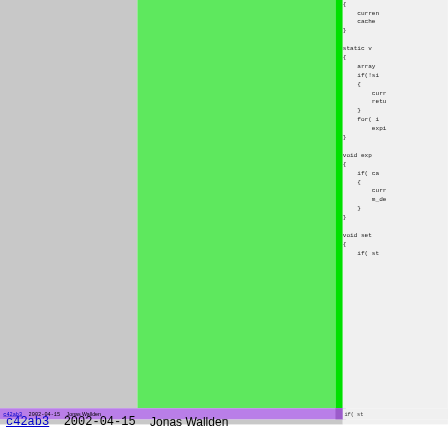[Figure (screenshot): Code viewer screenshot showing a file annotated with git blame. Left gray panel is a column gutter, center green panel is highlighted region, right side shows C++ source code (partially visible, clipped on left). Bottom bar shows commit info: c42ab3, 2002-04-15, Jonas Wallden.]
c42ab3  2002-04-15  Jonas Wallden